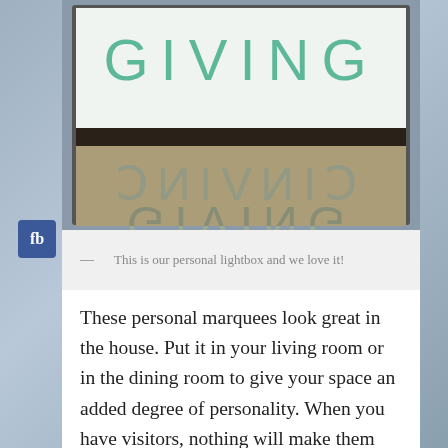[Figure (photo): A lightbox sign displaying the word GIVING in teal letters, with its reflection visible below in a darker panel showing the mirrored text.]
— This is our personal lightbox and we love it!
These personal marquees look great in the house. Put it in your living room or in the dining room to give your space an added degree of personality. When you have visitors, nothing will make them feel more at home than when they walk in and see the marquee message welcoming them to your abode.